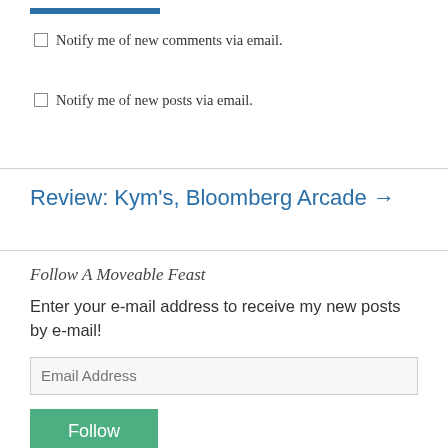Notify me of new comments via email.
Notify me of new posts via email.
Review: Kym's, Bloomberg Arcade →
Follow A Moveable Feast
Enter your e-mail address to receive my new posts by e-mail!
Email Address
Follow